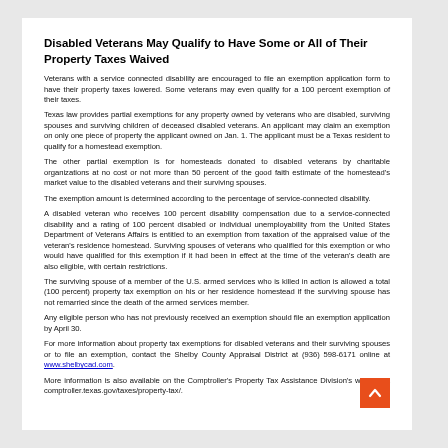Disabled Veterans May Qualify to Have Some or All of Their Property Taxes Waived
Veterans with a service connected disability are encouraged to file an exemption application form to have their property taxes lowered. Some veterans may even qualify for a 100 percent exemption of their taxes.
Texas law provides partial exemptions for any property owned by veterans who are disabled, surviving spouses and surviving children of deceased disabled veterans. An applicant may claim an exemption on only one piece of property the applicant owned on Jan. 1. The applicant must be a Texas resident to qualify for a homestead exemption.
The other partial exemption is for homesteads donated to disabled veterans by charitable organizations at no cost or not more than 50 percent of the good faith estimate of the homestead's market value to the disabled veterans and their surviving spouses.
The exemption amount is determined according to the percentage of service-connected disability.
A disabled veteran who receives 100 percent disability compensation due to a service-connected disability and a rating of 100 percent disabled or individual unemployability from the United States Department of Veterans Affairs is entitled to an exemption from taxation of the appraised value of the veteran's residence homestead. Surviving spouses of veterans who qualified for this exemption or who would have qualified for this exemption if it had been in effect at the time of the veteran's death are also eligible, with certain restrictions.
The surviving spouse of a member of the U.S. armed services who is killed in action is allowed a total (100 percent) property tax exemption on his or her residence homestead if the surviving spouse has not remarried since the death of the armed services member.
Any eligible person who has not previously received an exemption should file an exemption application by April 30.
For more information about property tax exemptions for disabled veterans and their surviving spouses or to file an exemption, contact the Shelby County Appraisal District at (936) 598-6171 online at www.shelbycad.com.
More information is also available on the Comptroller's Property Tax Assistance Division's website at comptroller.texas.gov/taxes/property-tax/.